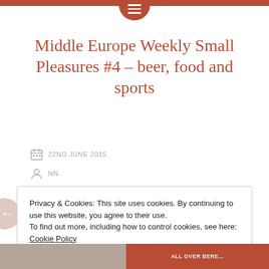Middle Europe Weekly Small Pleasures #4 – beer, food and sports
22ND JUNE 2015
NN
3 COMMENTS
Privacy & Cookies: This site uses cookies. By continuing to use this website, you agree to their use.
To find out more, including how to control cookies, see here: Cookie Policy
Close and accept